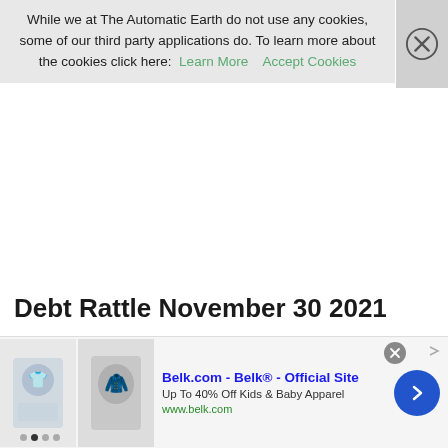While we at The Automatic Earth do not use any cookies, some of our third party applications do. To learn more about the cookies click here: Learn More   Accept Cookies
Debt Rattle November 30 2021
November 30, 2021
Posted by Raúl Ilargi Meijer at 10:07 am
[Figure (other): Advertisement banner for Belk.com - Belk® - Official Site. Up To 40% Off Kids & Baby Apparel. www.belk.com. Shows children's clothing images.]